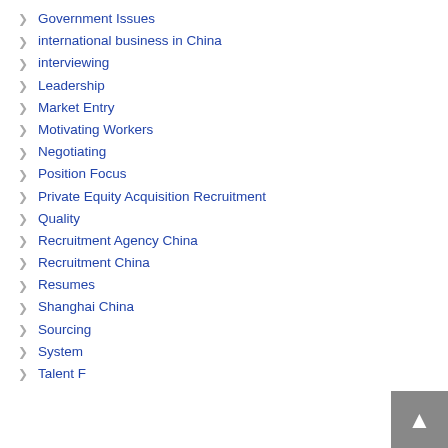Government Issues
international business in China
interviewing
Leadership
Market Entry
Motivating Workers
Negotiating
Position Focus
Private Equity Acquisition Recruitment
Quality
Recruitment Agency China
Recruitment China
Resumes
Shanghai China
Sourcing
System
Talent F…